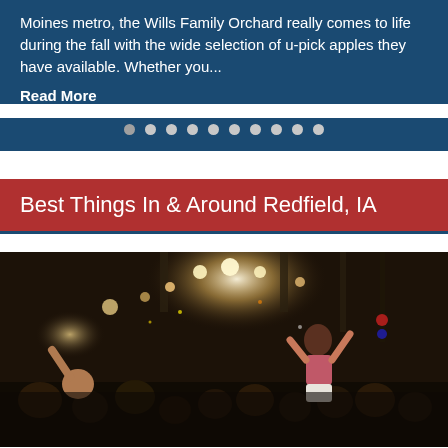Moines metro, the Wills Family Orchard really comes to life during the fall with the wide selection of u-pick apples they have available. Whether you...
Read More
[Figure (other): Pagination dots row — 10 circular dots in a row, light gray, on dark blue background]
Best Things In & Around Redfield, IA
[Figure (photo): Concert crowd photo — people with arms raised facing a bright stage with lights, a girl sitting on someone's shoulders in a pink tank top and white shorts]